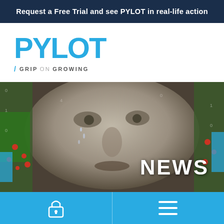Request a Free Trial and see PYLOT in real-life action
[Figure (logo): PYLOT logo in cyan/blue with tagline / GRIP ON GROWING]
[Figure (photo): Close-up black and white photo of a man's face composed of agricultural elements (plants, vegetables, data overlays), with the word NEWS overlaid in bold white text on the lower right]
[Figure (infographic): Cyan bottom navigation bar with a lock icon on the left and a hamburger menu icon on the right]